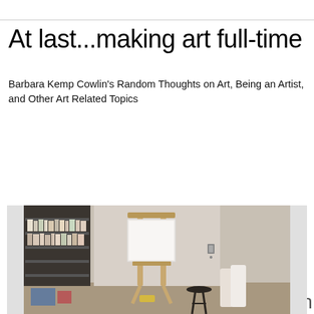At last...making art full-time
Barbara Kemp Cowlin's Random Thoughts on Art, Being an Artist, and Other Art Related Topics
Tuesday, June 9, 2009
Rudeness Never Pays, or A Fresh Start in My New Studio
[Figure (photo): Interior of an art studio showing a wooden easel with a blank white canvas, shelving units with art supplies on the left, a stool, and various art supplies on the right side of the room.]